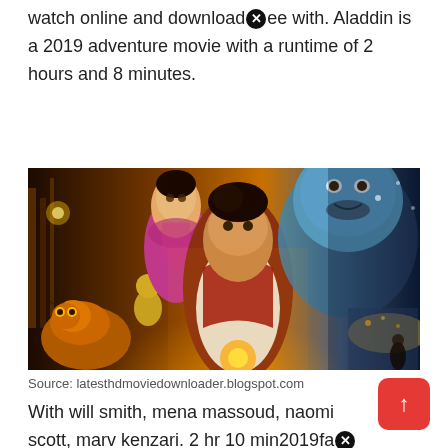watch online and download×ee with. Aladdin is a 2019 adventure movie with a runtime of 2 hours and 8 minutes.
[Figure (photo): Movie poster for Aladdin (2019) showing characters including Aladdin in the center foreground, Princess Jasmine, the Genie (Will Smith), a tiger, and a small figure of the Genie as a lamp holder, set against a warm golden and blue fantasy backdrop.]
Source: latesthdmoviedownloader.blogspot.com
With will smith, mena massoud, naomi scott, marv kenzari. 2 hr 10 min2019fa×asyu/a 7+.